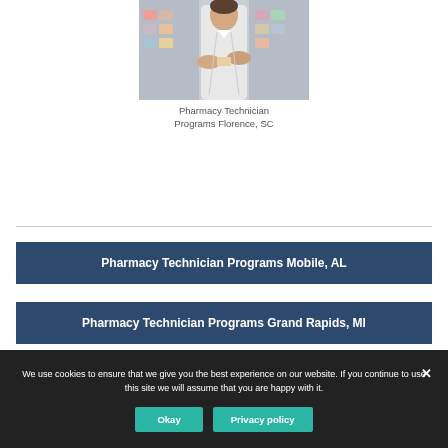[Figure (photo): Pharmacy technician in white lab coat handling medication at pharmacy counter]
Pharmacy Technician Programs Florence, SC
[Figure (other): Horizontal divider line]
Pharmacy Technician Programs Mobile, AL
Pharmacy Technician Programs Grand Rapids, MI
We use cookies to ensure that we give you the best experience on our website. If you continue to use this site we will assume that you are happy with it.
Okay
Privacy policy